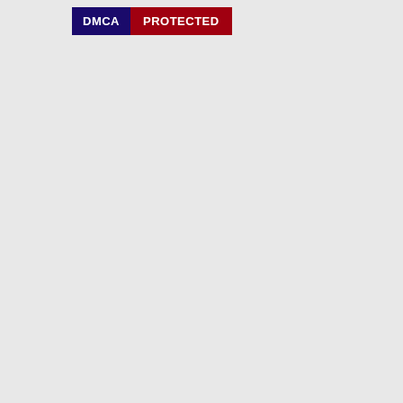[Figure (logo): DMCA Protected badge with two sections: left dark navy block reading 'DMCA' in white bold text, right dark red block reading 'PROTECTED' in white bold text]